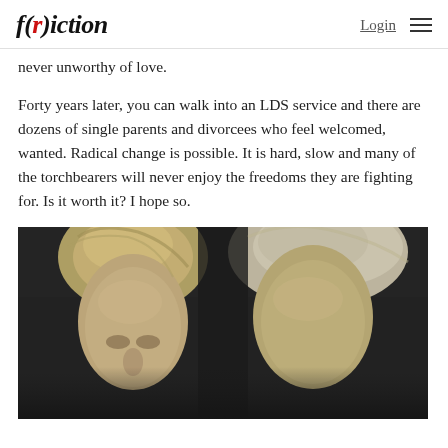f(r)iction | Login ≡
never unworthy of love.
Forty years later, you can walk into an LDS service and there are dozens of single parents and divorcees who feel welcomed, wanted. Radical change is possible. It is hard, slow and many of the torchbearers will never enjoy the freedoms they are fighting for. Is it worth it? I hope so.
[Figure (photo): Black and white photograph showing two people, one a young child with light hair in the foreground on the left, and another figure slightly behind on the right, both facing the camera.]